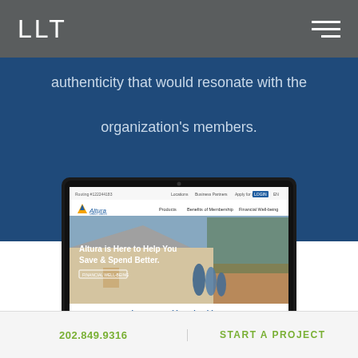LLT
authenticity that would resonate with the organization's members.
[Figure (screenshot): Laptop computer displaying the Altura Credit Union website homepage with the headline 'Altura is Here to Help You Save & Spend Better.' and tagline 'The Way Banking Should Be']
202.849.9316   START A PROJECT